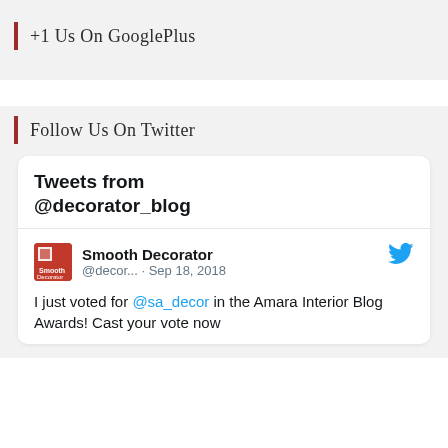+1 Us On GooglePlus
Follow Us On Twitter
[Figure (screenshot): Twitter widget embed showing 'Tweets from @decorator_blog' header and a tweet from Smooth Decorator (@decor...) dated Sep 18, 2018 reading: 'I just voted for @sa_decor in the Amara Interior Blog Awards! Cast your vote now']